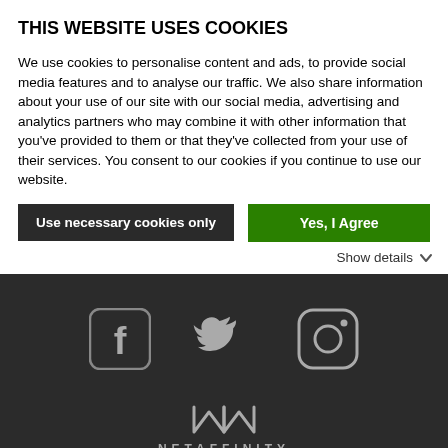THIS WEBSITE USES COOKIES
We use cookies to personalise content and ads, to provide social media features and to analyse our traffic. We also share information about your use of our site with our social media, advertising and analytics partners who may combine it with other information that you've provided to them or that they've collected from your use of their services. You consent to our cookies if you continue to use our website.
Use necessary cookies only | Yes, I Agree
Show details
[Figure (logo): Social media icons: Facebook, Twitter, Instagram on dark background]
[Figure (logo): Netaffinity logo with tagline WE LOVE HOTELS on dark background]